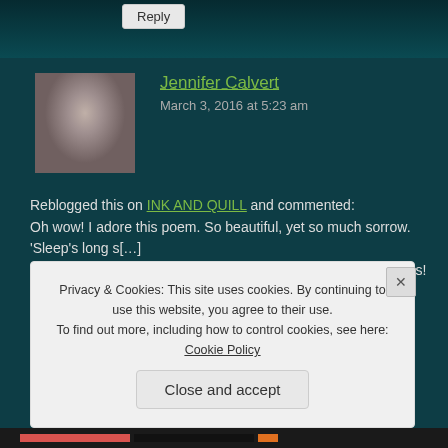Reply
Jennifer Calvert
March 3, 2016 at 5:23 am
Reblogged this on INK AND QUILL and commented:
Oh wow! I adore this poem. So beautiful, yet so much sorrow. ‘Sleep’s long s[hadow falls across] the heart of the day absorbs strong light from above.’ Gorgeous!
Reply
Privacy & Cookies: This site uses cookies. By continuing to use this website, you agree to their use.
To find out more, including how to control cookies, see here: Cookie Policy
Close and accept